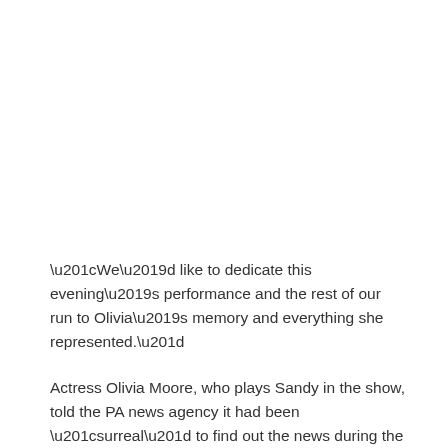“We’d like to dedicate this evening’s performance and the rest of our run to Olivia’s memory and everything she represented.”
Actress Olivia Moore, who plays Sandy in the show, told the PA news agency it had been “surreal” to find out the news during the interval and later reveal it to audience members.